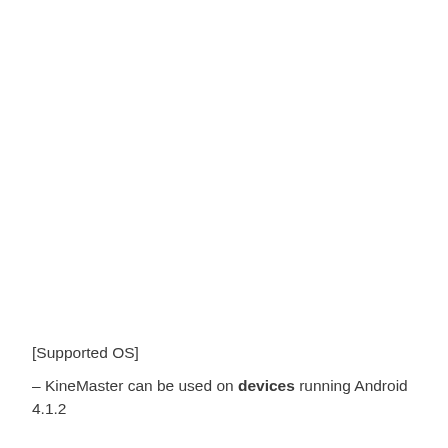[Supported OS]
– KineMaster can be used on devices running Android 4.1.2